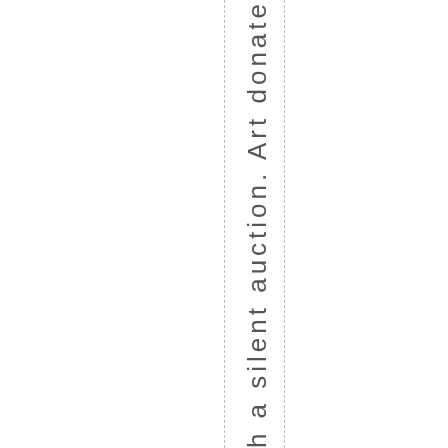. Humanity with a silent auction. Art donate